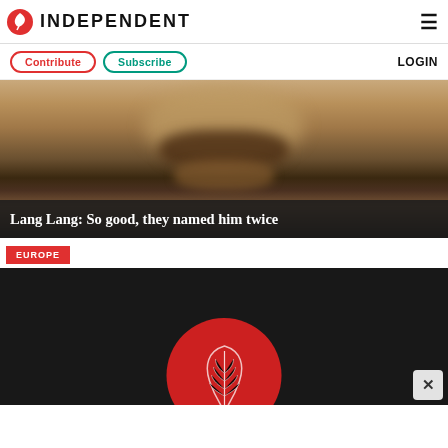INDEPENDENT
Contribute  Subscribe  LOGIN
[Figure (photo): Blurred close-up photo of a person's face, warm skin tones, blurred/redacted]
Lang Lang: So good, they named him twice
EUROPE
[Figure (photo): Dark background with a red circular emblem featuring a silver fern, partially visible, with a close button overlay]